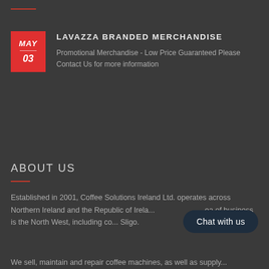[Figure (other): Red decorative horizontal divider line at top of page]
LAVAZZA BRANDED MERCHANDISE
Promotional Merchandise - Low Price Guaranteed Please Contact Us for more information
ABOUT US
Established in 2001, Coffee Solutions Ireland Ltd. operates across Northern Ireland and the Republic of Irela... area of business is the North West, including co... Sligo.
We sell, maintain and repair coffee machines, as well as supply...
[Figure (other): Chat with us button overlay]